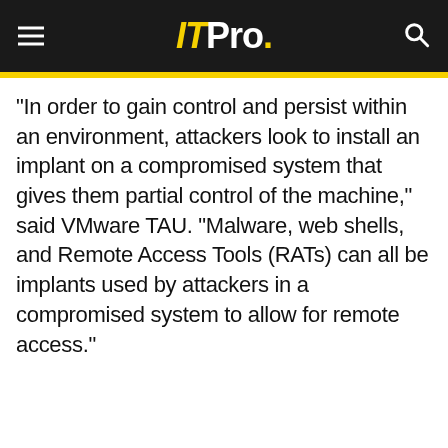ITPro.
"In order to gain control and persist within an environment, attackers look to install an implant on a compromised system that gives them partial control of the machine," said VMware TAU. "Malware, web shells, and Remote Access Tools (RATs) can all be implants used by attackers in a compromised system to allow for remote access."